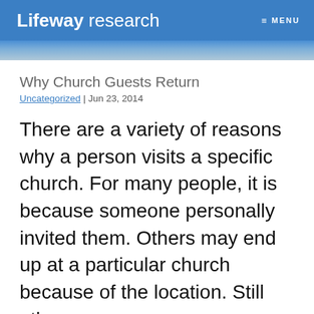Lifeway research  ≡ MENU
Why Church Guests Return
Uncategorized | Jun 23, 2014
There are a variety of reasons why a person visits a specific church.  For many people, it is because someone personally invited them.  Others may end up at a particular church because of the location.  Still others may